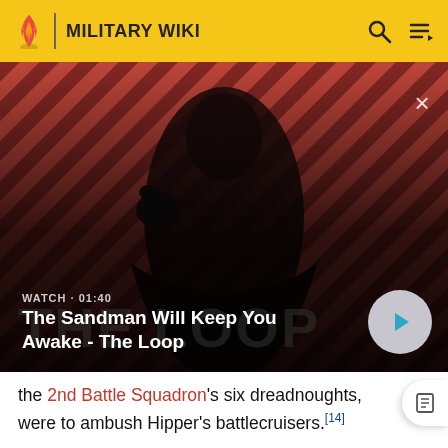MILITARY WIKI
[Figure (screenshot): Video thumbnail showing a dark-cloaked figure with a raven on shoulder against red and black diagonal striped background. Overlay text: WATCH · 01:40 / The Sandman Will Keep You Awake - The Loop. Close button (×) top right. Play button bottom right.]
the 2nd Battle Squadron's six dreadnoughts, were to ambush Hipper's battlecruisers.[14]
During the night of 15 December, the main body of the High Seas Fleet encountered British destroyers. Fearing